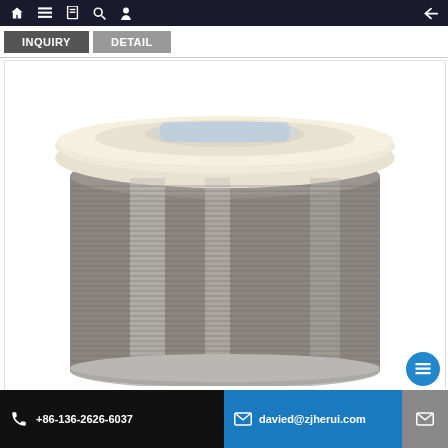INQUIRY   DETAIL
[Figure (photo): A spool of metallic wire (silver/grey color) wound on a cylindrical bobbin with a cream-colored plastic flange on top, shown on white background.]
+86-136-2626-6037   davied@zjherui.com